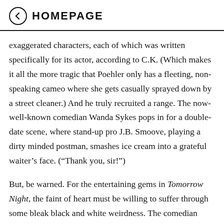HOMEPAGE
exaggerated characters, each of which was written specifically for its actor, according to C.K. (Which makes it all the more tragic that Poehler only has a fleeting, non-speaking cameo where she gets casually sprayed down by a street cleaner.) And he truly recruited a range. The now-well-known comedian Wanda Sykes pops in for a double-date scene, where stand-up pro J.B. Smoove, playing a dirty minded postman, smashes ice cream into a grateful waiter’s face. (“Thank you, sir!”)
But, be warned. For the entertaining gems in Tomorrow Night, the faint of heart must be willing to suffer through some bleak black and white weirdness. The comedian hasn’t been put off by opinion (IMDB has it rated 6/10) or rejection before. For C.K., it’s a 16-year-old dream to gift